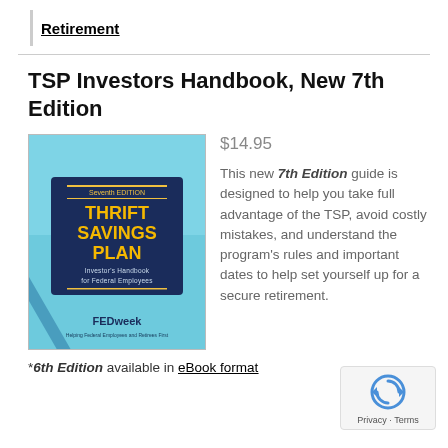Retirement
TSP Investors Handbook, New 7th Edition
[Figure (illustration): Book cover of 'Thrift Savings Plan Investor's Handbook for Federal Employees, Seventh Edition' published by FEDweek. Blue cover with gold and white text, showing a pen over financial charts in the background.]
$14.95
This new 7th Edition guide is designed to help you take full advantage of the TSP, avoid costly mistakes, and understand the program's rules and important dates to help set yourself up for a secure retirement.
*6th Edition available in eBook format